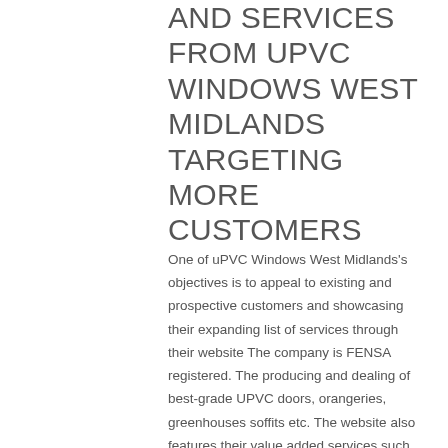AND SERVICES FROM UPVC WINDOWS WEST MIDLANDS TARGETING MORE CUSTOMERS
One of uPVC Windows West Midlands's objectives is to appeal to existing and prospective customers and showcasing their expanding list of services through their website The company is FENSA registered. The producing and dealing of best-grade UPVC doors, orangeries, greenhouses soffits etc. The website also features their value added services such as glazing, window cleaning and upgrades. For